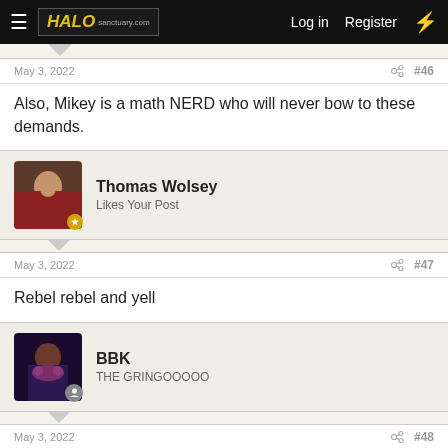HALO   halosanctuary.com   Log in   Register
May 3, 2022   #46
Also, Mikey is a math NERD who will never bow to these demands.
Thomas Wolsey
Likes Your Post
May 3, 2022   #47
Rebel rebel and yell
BBK
THE GRINGOOOOO
May 3, 2022   #48
Thomas Wolsey said: